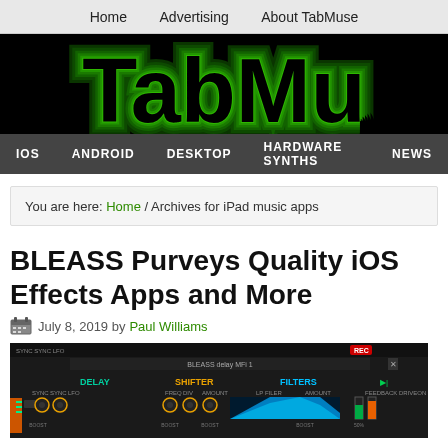Home  Advertising  About TabMuse
[Figure (logo): TabMuse website logo — large green concentric-ring style text on black background reading 'TabMu' (partially cropped)]
IOS  ANDROID  DESKTOP  HARDWARE SYNTHS  NEWS
You are here: Home / Archives for iPad music apps
BLEASS Purveys Quality iOS Effects Apps and More
July 8, 2019 by Paul Williams
[Figure (screenshot): Screenshot of BLEASS delay app interface showing DELAY, SHIFTER, and FILTERS sections with knobs and a cyan/blue waveform display on dark background]